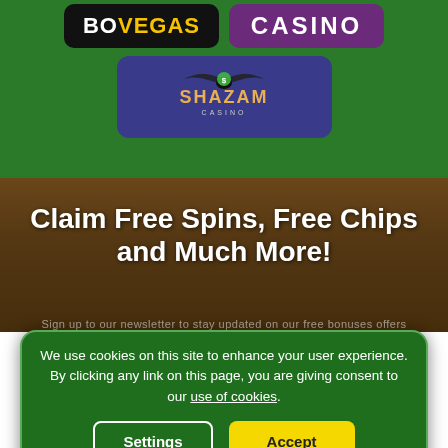[Figure (logo): BoVegas casino logo on black background]
[Figure (logo): Casino logo on purple background]
[Figure (logo): Shazam Casino logo on dark blue/purple background]
[Figure (photo): Blurred casino background photo]
Claim Free Spins, Free Chips and Much More!
Sign up to our newsletter to stay updated on our free bonuses offers
We use cookies on this site to enhance your user experience. By clicking any link on this page, you are giving consent to our use of cookies.
Settings
Accept